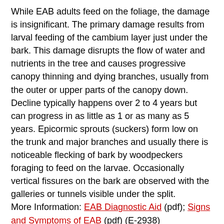While EAB adults feed on the foliage, the damage is insignificant. The primary damage results from larval feeding of the cambium layer just under the bark. This damage disrupts the flow of water and nutrients in the tree and causes progressive canopy thinning and dying branches, usually from the outer or upper parts of the canopy down. Decline typically happens over 2 to 4 years but can progress in as little as 1 or as many as 5 years. Epicormic sprouts (suckers) form low on the trunk and major branches and usually there is noticeable flecking of bark by woodpeckers foraging to feed on the larvae. Occasionally vertical fissures on the bark are observed with the galleries or tunnels visible under the split.
More Information: EAB Diagnostic Aid (pdf); Signs and Symptoms of EAB (pdf) (E-2938)
Management of Emerald Ash Borer
There are two options to manage trees infected or likely